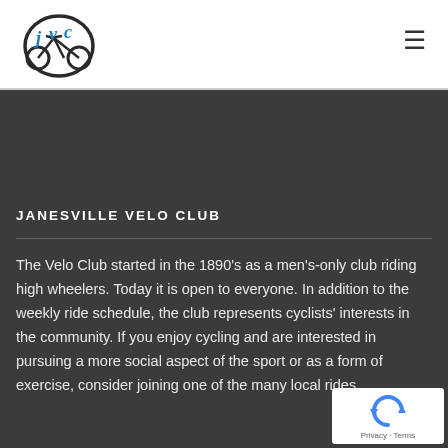[Figure (logo): JVC bicycle club logo — stylized bicycle with 'jvc' text in blue]
≡ (hamburger menu icon)
JANESVILLE VELO CLUB
The Velo Club started in the 1890's as a men's-only club riding high wheelers. Today it is open to everyone. In addition to the weekly ride schedule, the club represents cyclists' interests in the community. If you enjoy cycling and are interested in pursuing a more social aspect of the sport or as a form of exercise, consider joining one of the many local rides.
[Figure (logo): reCAPTCHA badge with Privacy and Terms links]